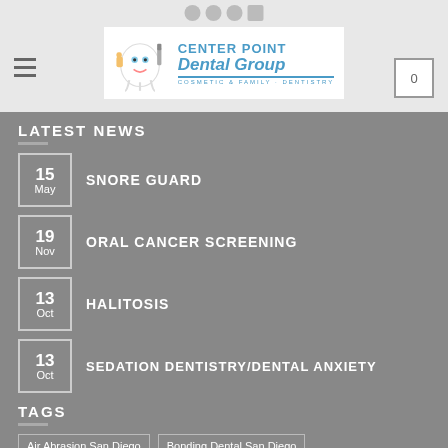[Figure (logo): Center Point Dental Group logo with cartoon tooth mascot and text]
LATEST NEWS
15 May — SNORE GUARD
19 Nov — ORAL CANCER SCREENING
13 Oct — HALITOSIS
13 Oct — SEDATION DENTISTRY/DENTAL ANXIETY
TAGS
Air Abrasion San Diego
Bonding Dental San Diego